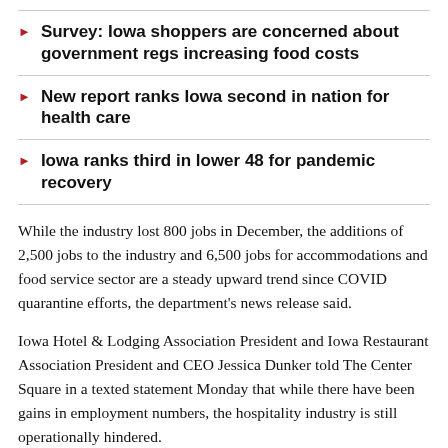Survey: Iowa shoppers are concerned about government regs increasing food costs
New report ranks Iowa second in nation for health care
Iowa ranks third in lower 48 for pandemic recovery
While the industry lost 800 jobs in December, the additions of 2,500 jobs to the industry and 6,500 jobs for accommodations and food service sector are a steady upward trend since COVID quarantine efforts, the department's news release said.
Iowa Hotel & Lodging Association President and Iowa Restaurant Association President and CEO Jessica Dunker told The Center Square in a texted statement Monday that while there have been gains in employment numbers, the hospitality industry is still operationally hindered.